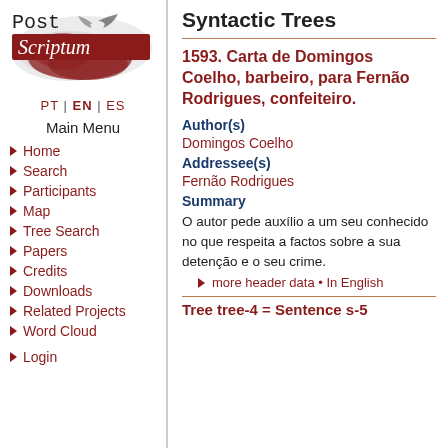[Figure (logo): Post Scriptum logo with red decorative background and stylized text]
PT | EN | ES
Main Menu
Home
Search
Participants
Map
Tree Search
Papers
Credits
Downloads
Related Projects
Word Cloud
Login
Syntactic Trees
1593. Carta de Domingos Coelho, barbeiro, para Fernão Rodrigues, confeiteiro.
Author(s)
Domingos Coelho
Addressee(s)
Fernão Rodrigues
Summary
O autor pede auxílio a um seu conhecido no que respeita a factos sobre a sua detenção e o seu crime.
more header data • In English
Tree tree-4 = Sentence s-5